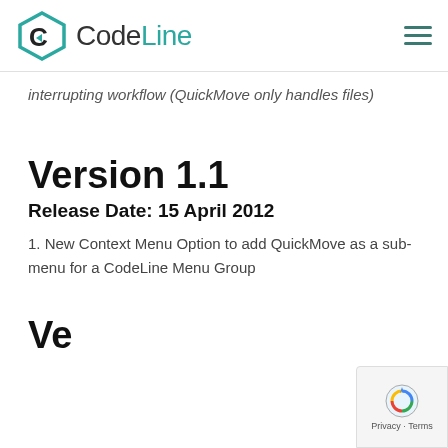CodeLine
interrupting workflow (QuickMove only handles files)
Version 1.1
Release Date: 15 April 2012
1. New Context Menu Option to add QuickMove as a sub-menu for a CodeLine Menu Group
Version 1